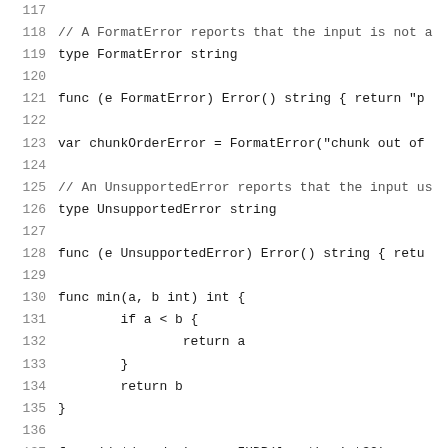[Figure (screenshot): Source code listing in Go language, lines 117-137, showing FormatError type, UnsupportedError type, min function, and start of parseIHDR function]